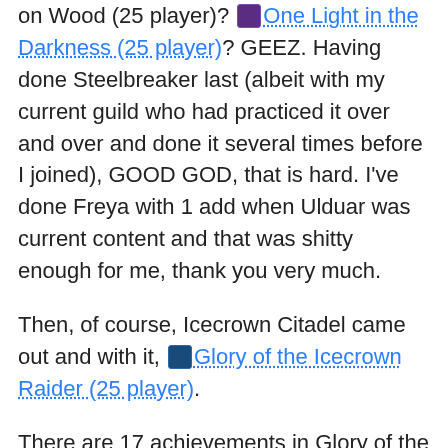on Wood (25 player)? One Light in the Darkness (25 player)? GEEZ. Having done Steelbreaker last (albeit with my current guild who had practiced it over and over and done it several times before I joined), GOOD GOD, that is hard. I've done Freya with 1 add when Ulduar was current content and that was shitty enough for me, thank you very much.
Then, of course, Icecrown Citadel came out and with it, Glory of the Icecrown Raider (25 player).
There are 17 achievements in Glory of the Icecrown Raider and four of them include killing all the bosses, save Lich King, on heroic. Which is HARD. Heroic Putricide and Heroic Sindragosa are right up there with Steelbreaker last and what I imagine